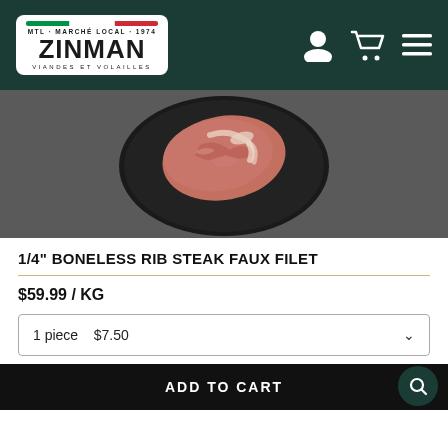MTL MARCHÉ LOCAL 1974 | ZINMAN | VIANDES ET VOLAILLES
[Figure (photo): Raw boneless rib steak on a black round plate against a dark background]
1/4" BONELESS RIB STEAK FAUX FILET
$59.99 / KG
1 piece   $7.50
ADD TO CART